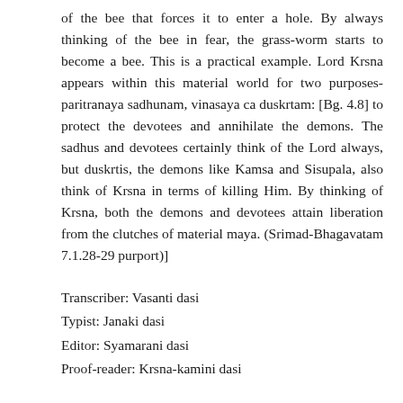of the bee that forces it to enter a hole. By always thinking of the bee in fear, the grass-worm starts to become a bee. This is a practical example. Lord Krsna appears within this material world for two purposes-paritranaya sadhunam, vinasaya ca duskrtam: [Bg. 4.8] to protect the devotees and annihilate the demons. The sadhus and devotees certainly think of the Lord always, but duskrtis, the demons like Kamsa and Sisupala, also think of Krsna in terms of killing Him. By thinking of Krsna, both the demons and devotees attain liberation from the clutches of material maya. (Srimad-Bhagavatam 7.1.28-29 purport)]
Transcriber: Vasanti dasi
Typist: Janaki dasi
Editor: Syamarani dasi
Proof-reader: Krsna-kamini dasi